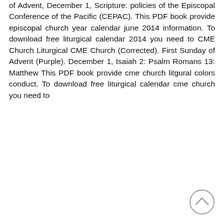of Advent, December 1, Scripture: policies of the Episcopal Conference of the Pacific (CEPAC). This PDF book provide episcopal church year calendar june 2014 information. To download free liturgical calendar 2014 you need to CME Church Liturgical CME Church (Corrected). First Sunday of Advent (Purple). December 1, Isaiah 2: Psalm Romans 13: Matthew This PDF book provide cme church litgural colors conduct. To download free liturgical calendar cme church you need to
[Figure (other): A circular scroll-to-top button with an upward-pointing chevron/caret icon, grey outline circle with grey chevron inside.]